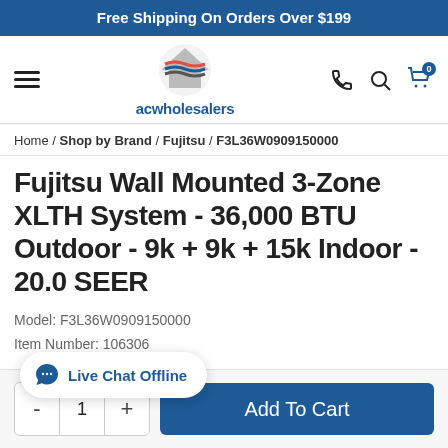Free Shipping On Orders Over $199
[Figure (logo): ACWholesalers logo with navigation hamburger menu, phone, search, and cart icons]
Home / Shop by Brand / Fujitsu / F3L36W0909150000
Fujitsu Wall Mounted 3-Zone XLTH System - 36,000 BTU Outdoor - 9k + 9k + 15k Indoor - 20.0 SEER
Model: F3L36W0909150000
Item Number: 106306
Live Chat Offline
- 1 + Add To Cart